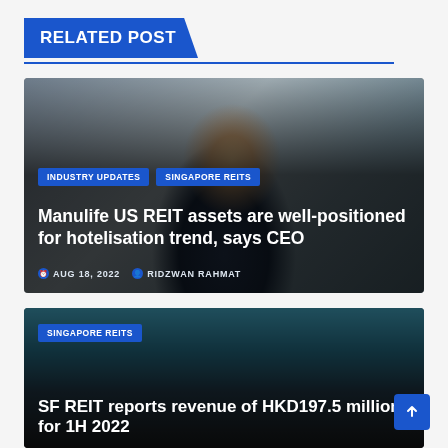RELATED POST
[Figure (photo): Photo of a man in a suit with arms crossed in an office with plants; article card with tags INDUSTRY UPDATES and SINGAPORE REITS, title 'Manulife US REIT assets are well-positioned for hotelisation trend, says CEO', dated AUG 18, 2022 by RIDZWAN RAHMAT]
[Figure (photo): Photo of a building exterior with dark tones; article card with tag SINGAPORE REITS, title 'SF REIT reports revenue of HKD197.5 million for 1H 2022']